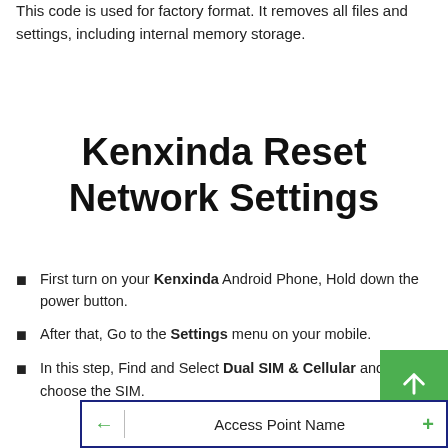This code is used for factory format. It removes all files and settings, including internal memory storage.
Kenxinda Reset Network Settings
First turn on your Kenxinda Android Phone, Hold down the power button.
After that, Go to the Settings menu on your mobile.
In this step, Find and Select Dual SIM & Cellular and choose the SIM.
[Figure (screenshot): Access Point Name bar with green back arrow, divider, and green plus button on a white background with dark blue border]